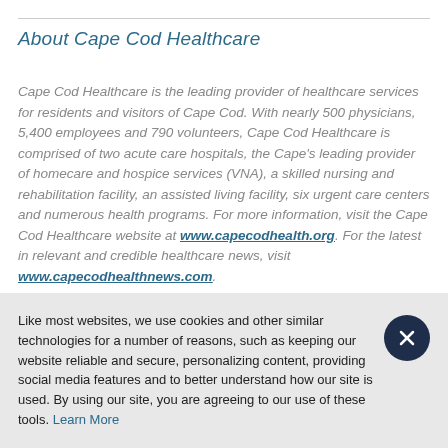About Cape Cod Healthcare
Cape Cod Healthcare is the leading provider of healthcare services for residents and visitors of Cape Cod. With nearly 500 physicians, 5,400 employees and 790 volunteers, Cape Cod Healthcare is comprised of two acute care hospitals, the Cape's leading provider of homecare and hospice services (VNA), a skilled nursing and rehabilitation facility, an assisted living facility, six urgent care centers and numerous health programs. For more information, visit the Cape Cod Healthcare website at www.capecodhealth.org. For the latest in relevant and credible healthcare news, visit www.capecodhealthnews.com.
Like most websites, we use cookies and other similar technologies for a number of reasons, such as keeping our website reliable and secure, personalizing content, providing social media features and to better understand how our site is used. By using our site, you are agreeing to our use of these tools. Learn More